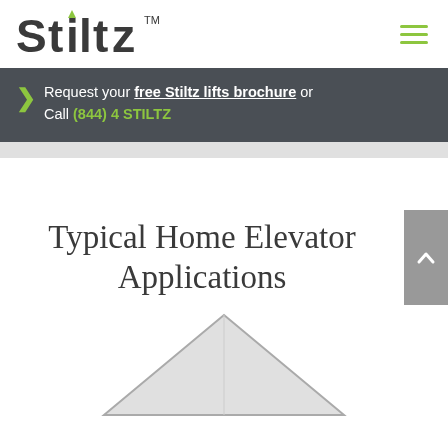Stiltz™
Request your free Stiltz lifts brochure or Call (844) 4 STILTZ
Typical Home Elevator Applications
[Figure (illustration): Partial view of a house rooftop/outline illustration at the bottom of the page]